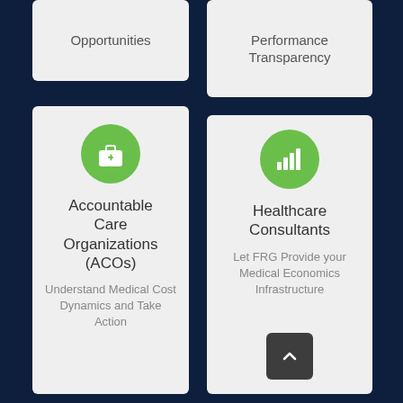Opportunities
Performance Transparency
[Figure (infographic): Green circle with white medical briefcase icon for Accountable Care Organizations card]
Accountable Care Organizations (ACOs)
Understand Medical Cost Dynamics and Take Action
[Figure (infographic): Green circle with white bar chart signal icon for Healthcare Consultants card]
Healthcare Consultants
Let FRG Provide your Medical Economics Infrastructure